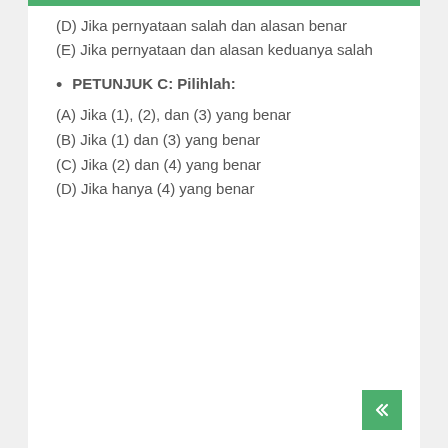(D) Jika pernyataan salah dan alasan benar
(E) Jika pernyataan dan alasan keduanya salah
• PETUNJUK C: Pilihlah:
(A) Jika (1), (2), dan (3) yang benar
(B) Jika (1) dan (3) yang benar
(C) Jika (2) dan (4) yang benar
(D) Jika hanya (4) yang benar